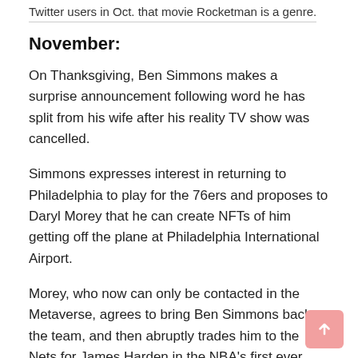Twitter users in Oct. that movie Rocketman is a genre.
November:
On Thanksgiving, Ben Simmons makes a surprise announcement following word he has split from his wife after his reality TV show was cancelled.
Simmons expresses interest in returning to Philadelphia to play for the 76ers and proposes to Daryl Morey that he can create NFTs of him getting off the plane at Philadelphia International Airport.
Morey, who now can only be contacted in the Metaverse, agrees to bring Ben Simmons back to the team, and then abruptly trades him to the Nets for James Harden in the NBA's first ever crypto-based acquisition.
December: